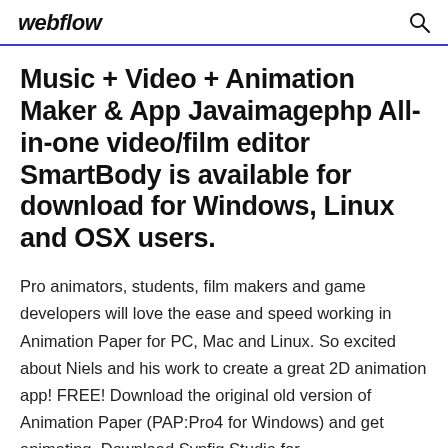webflow
Music + Video + Animation Maker & App Javaimagephp All-in-one video/film editor SmartBody is available for download for Windows, Linux and OSX users.
Pro animators, students, film makers and game developers will love the ease and speed working in Animation Paper for PC, Mac and Linux. So excited about Niels and his work to create a great 2D animation app! FREE! Download the original old version of Animation Paper (PAP:Pro4 for Windows) and get animating. Download Synfig Studio for